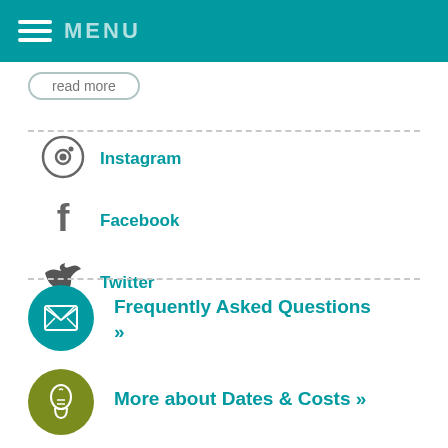MENU
read more
Instagram
Facebook
Twitter
Frequently Asked Questions »
More about Dates & Costs »
Contact Quest Overseas»